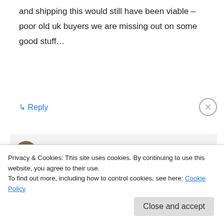and shipping this would still have been viable – poor old uk buyers we are missing out on some good stuff…
↳ Reply
LLADYBIRD on November 20, 2012 at 9:15 am
Ugh, that sucks – and it's weird, too, since the dresses are made overseas in the first
Privacy & Cookies: This site uses cookies. By continuing to use this website, you agree to their use.
To find out more, including how to control cookies, see here: Cookie Policy
Close and accept